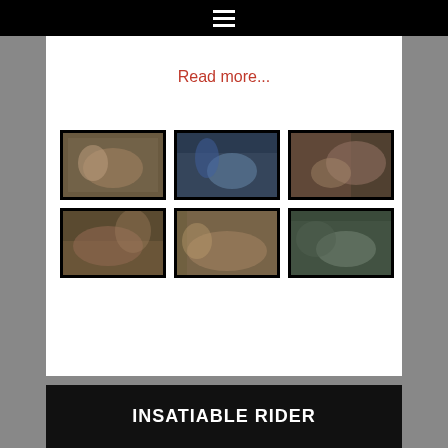Navigation menu (hamburger icon)
Read more...
[Figure (photo): Grid of 6 video thumbnail images arranged in 2 rows of 3]
INSATIABLE RIDER